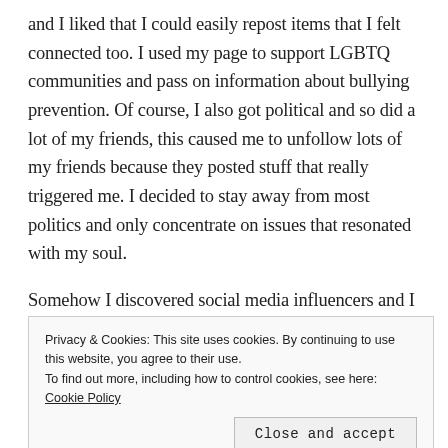and I liked that I could easily repost items that I felt connected too.  I used my page to support LGBTQ communities and pass on information about bullying prevention.  Of course, I also got political and so did a lot of my friends, this caused me to unfollow lots of my friends because they posted stuff that really triggered me.  I decided to stay away from most politics and only concentrate on issues that resonated with my soul.
Somehow I discovered social media influencers and I could not believe that one could make money by writing information that other people would love to consume.  I
Privacy & Cookies: This site uses cookies. By continuing to use this website, you agree to their use.
To find out more, including how to control cookies, see here: Cookie Policy
Close and accept